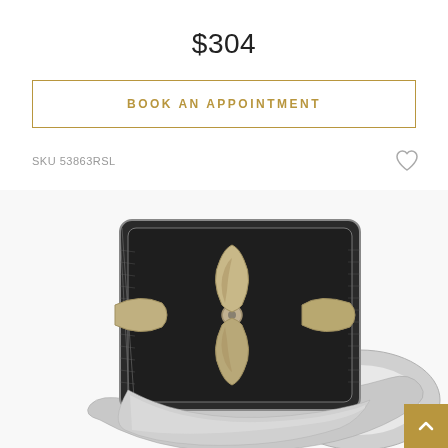$304
BOOK AN APPOINTMENT
SKU 53863RSL
[Figure (photo): A silver signet ring with a cross/fleur design on a dark oxidized rectangular face with a grid pattern on the sides, photographed at an angle on a white background.]